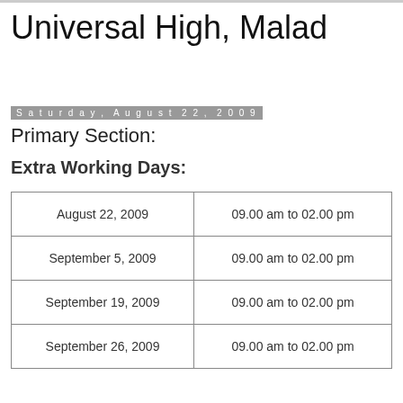Universal High, Malad
Saturday, August 22, 2009
Primary Section:
Extra Working Days:
| August 22, 2009 | 09.00 am to 02.00 pm |
| September 5, 2009 | 09.00 am to 02.00 pm |
| September 19, 2009 | 09.00 am to 02.00 pm |
| September 26, 2009 | 09.00 am to 02.00 pm |